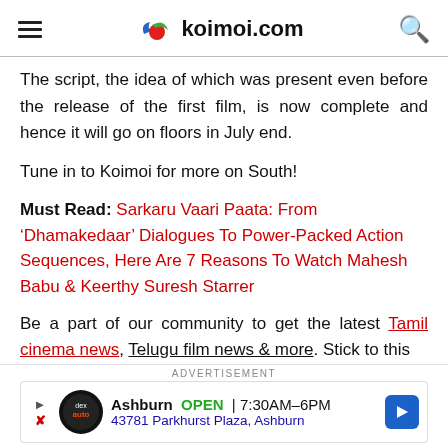koimoi.com
The script, the idea of which was present even before the release of the first film, is now complete and hence it will go on floors in July end.
Tune in to Koimoi for more on South!
Must Read: Sarkaru Vaari Paata: From ‘Dhamakedaar’ Dialogues To Power-Packed Action Sequences, Here Are 7 Reasons To Watch Mahesh Babu & Keerthy Suresh Starrer
Be a part of our community to get the latest Tamil cinema news, Telugu film news & more. Stick to this
[Figure (other): Advertisement banner: Ashburn OPEN 7:30AM-6PM, 43781 Parkhurst Plaza, Ashburn]